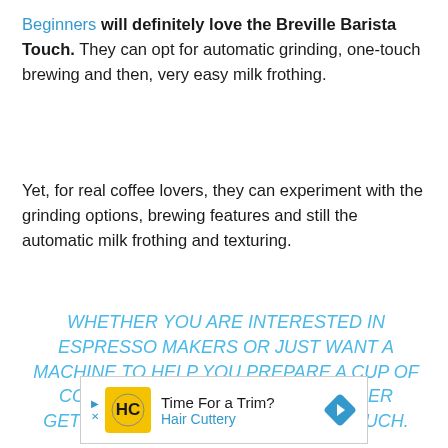Beginners will definitely love the Breville Barista Touch. They can opt for automatic grinding, one-touch brewing and then, very easy milk frothing.
Yet, for real coffee lovers, they can experiment with the grinding options, brewing features and still the automatic milk frothing and texturing.
WHETHER YOU ARE INTERESTED IN ESPRESSO MAKERS OR JUST WANT A MACHINE TO HELP YOU PREPARE A CUP OF COFFEE IN THE MORNING, CONSIDER GETTING THE BREVILLE BARISTA TOUCH.
[Figure (infographic): Advertisement banner for Hair Cuttery with logo, 'Time For a Trim?' headline, and a navigation arrow icon.]